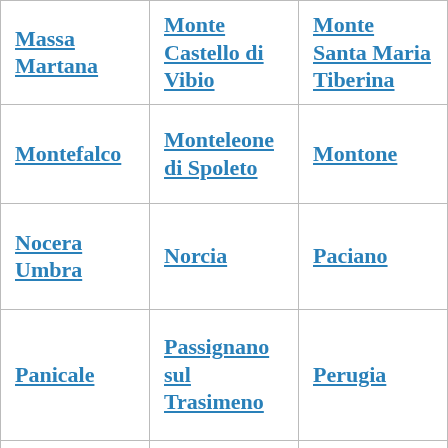| Massa Martana | Monte Castello di Vibio | Monte Santa Maria Tiberina |
| Montefalco | Monteleone di Spoleto | Montone |
| Nocera Umbra | Norcia | Paciano |
| Panicale | Passignano sul Trasimeno | Perugia |
| Piegaro | Pietralunga | Poggiodomo |
| Preci | San Giustino | Sant'Anatolia di Narco |
| ... |  |  |